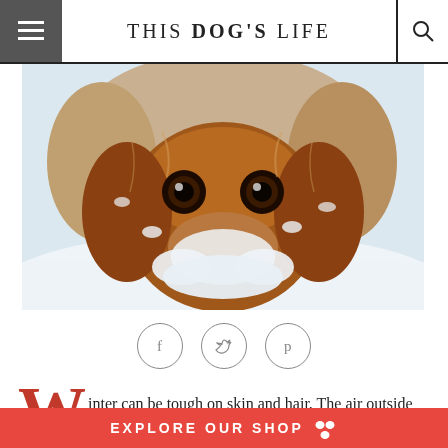THIS DOG'S LIFE
[Figure (photo): Close-up photo of a Cavalier King Charles Spaniel dog with snow on its face and fur, looking directly at the camera. The dog appears to be wearing a furry hat or has fluffy fur around its head. The background is snowy white.]
[Figure (infographic): Three social media sharing icons in circles: Facebook (f), Twitter (bird), Pinterest (P)]
inter can be tough on skin and hair. The air outside